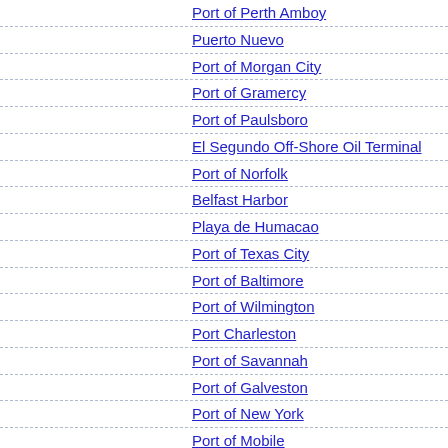Port of Perth Amboy
Puerto Nuevo
Port of Morgan City
Port of Gramercy
Port of Paulsboro
El Segundo Off-Shore Oil Terminal
Port of Norfolk
Belfast Harbor
Playa de Humacao
Port of Texas City
Port of Baltimore
Port of Wilmington
Port Charleston
Port of Savannah
Port of Galveston
Port of New York
Port of Mobile
Port of Providence
Port of Portland
Port of Palm Beach
Port of New Haven
Port of Stockton
Port of Carquillo